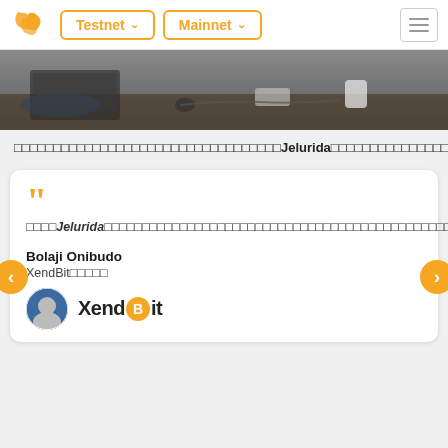Testnet ▾  Mainnet ▾
[Figure (photo): Photo of people working at a desk with a laptop and coffee cups]
□□□□□□□□□□□□□□□□□□□□□□□□□□□□□□□□□□Jelurida□□□□□□□□□□□□□□□□□□□□□□□□□□□□□□□□□□□□□□□□□□□□□□□□□□□□□□□□□□□□□□□□□□□□□□□□□□
□□□□Jelurida□□□□□□□□□□□□□□□□□□□□□□□□□□□□□□□□□□□□□□□□□□□□□□□□□□□□□□□□
Bolaji Onibudo
XendBit□□□□□